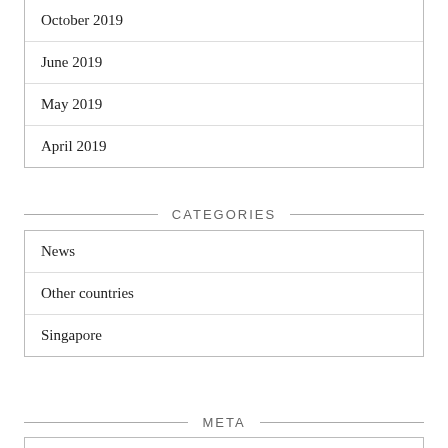October 2019
June 2019
May 2019
April 2019
CATEGORIES
News
Other countries
Singapore
META